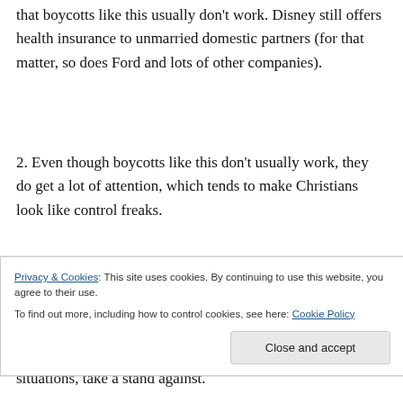that boycotts like this usually don't work. Disney still offers health insurance to unmarried domestic partners (for that matter, so does Ford and lots of other companies).
2. Even though boycotts like this don't usually work, they do get a lot of attention, which tends to make Christians look like control freaks.
3. We're supposed to have a positive, healing effect on the culture. Sometimes that requires
Privacy & Cookies: This site uses cookies. By continuing to use this website, you agree to their use.
To find out more, including how to control cookies, see here: Cookie Policy
situations, take a stand against.